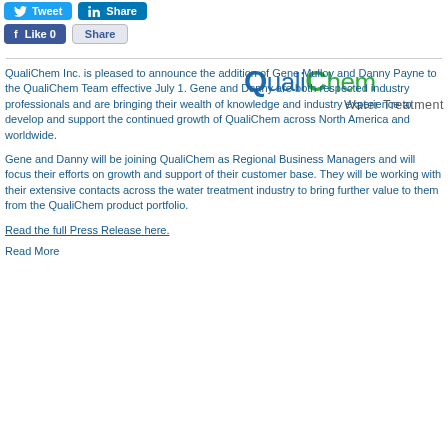[Figure (screenshot): Social media sharing buttons: Tweet, Share (LinkedIn), Like 0 (Facebook), Share]
[Figure (logo): QualiChem Water Treatment logo — 'Quali' in blue, 'Chem' in green, bold large font; 'Water Treatment' subtitle in gray]
QualiChem Inc. is pleased to announce the addition of Gene Mulloy and Danny Payne to the QualiChem Team effective July 1. Gene and Danny are both respected industry professionals and are bringing their wealth of knowledge and industry experience to develop and support the continued growth of QualiChem across North America and worldwide.
Gene and Danny will be joining QualiChem as Regional Business Managers and will focus their efforts on growth and support of their customer base. They will be working with their extensive contacts across the water treatment industry to bring further value to them from the QualiChem product portfolio.
Read the full Press Release here.
Read More